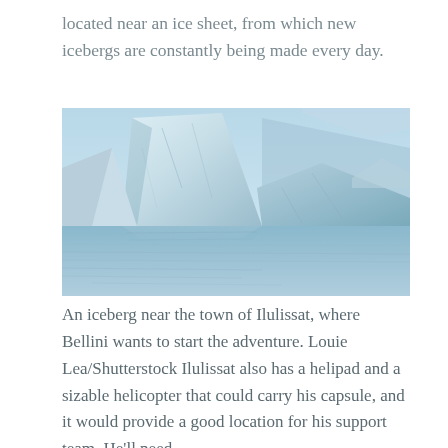located near an ice sheet, from which new icebergs are constantly being made every day.
[Figure (photo): Photograph of a large iceberg near the town of Ilulissat, with its white and blue-tinted ice mass reflected in calm water, under a pale blue sky.]
An iceberg near the town of Ilulissat, where Bellini wants to start the adventure. Louie Lea/Shutterstock Ilulissat also has a helipad and a sizable helicopter that could carry his capsule, and it would provide a good location for his support team. He'll need